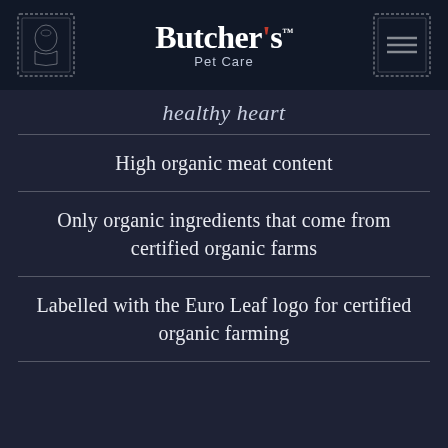[Figure (logo): Butcher's Pet Care logo with stamp icons on left and right, brand name in white bold serif font with red apostrophe dot, Pet Care subtitle below]
healthy heart
High organic meat content
Only organic ingredients that come from certified organic farms
Labelled with the Euro Leaf logo for certified organic farming